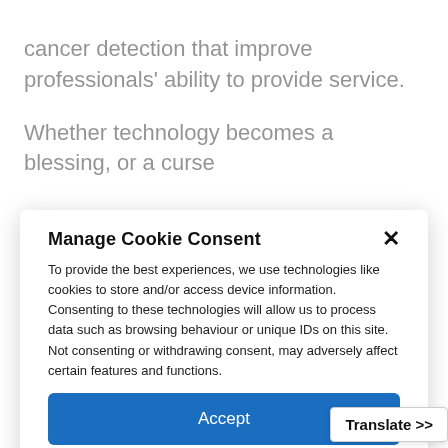cancer detection that improve professionals' ability to provide service.
Whether technology becomes a blessing, or a curse
Manage Cookie Consent
To provide the best experiences, we use technologies like cookies to store and/or access device information. Consenting to these technologies will allow us to process data such as browsing behaviour or unique IDs on this site. Not consenting or withdrawing consent, may adversely affect certain features and functions.
Accept
Deny
View preferences
Cookie Policy   Privacy Policy
Translate >>